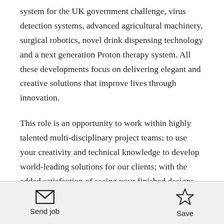system for the UK government challenge, virus detection systems, advanced agricultural machinery, surgical robotics, novel drink dispensing technology and a next generation Proton therapy system. All these developments focus on delivering elegant and creative solutions that improve lives through innovation.
This role is an opportunity to work within highly talented multi-disciplinary project teams; to use your creativity and technical knowledge to develop world-leading solutions for our clients; with the added satisfaction of seeing your finished designs launched in the market.
Send job   Save